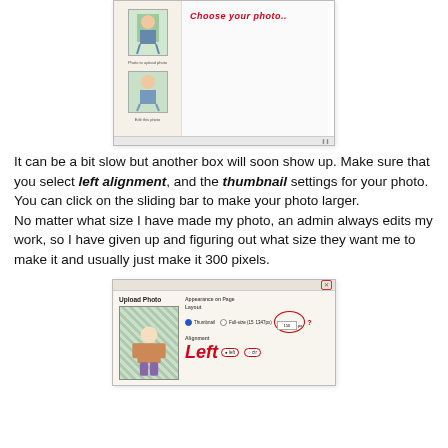[Figure (screenshot): Screenshot of a photo upload page showing a sidebar with thumbnail images on the left and a 'Choose your photo..' prompt in red italic text on the right]
It can be a bit slow but another box will soon show up. Make sure that you select left alignment, and the thumbnail settings for your photo.
You can click on the sliding bar to make your photo larger.
No matter what size I have made my photo, an admin always edits my work, so I have given up and figuring out what size they want me to make it and usually just make it 300 pixels.
[Figure (screenshot): Screenshot of Upload Photo dialog with Layout options showing Thumbnail radio selected, a circled pixel size box, and 'Left' alignment option circled in red, with a red question mark]